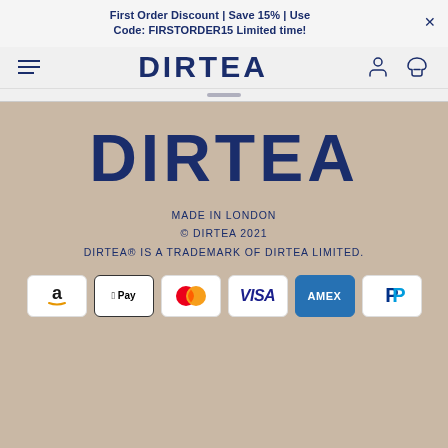First Order Discount | Save 15% | Use Code: FIRSTORDER15 Limited time!
[Figure (logo): DIRTEA brand logo in navy blue bold text in navigation bar]
[Figure (logo): DIRTEA large brand logo in navy blue bold text on tan/beige background]
MADE IN LONDON
© DIRTEA 2021
DIRTEA® IS A TRADEMARK OF DIRTEA LIMITED.
[Figure (infographic): Payment method icons: Amazon Pay, Apple Pay, Mastercard, Visa, Amex, PayPal]